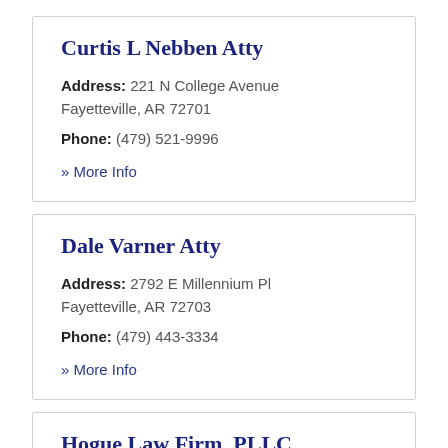Curtis L Nebben Atty
Address: 221 N College Avenue Fayetteville, AR 72701
Phone: (479) 521-9996
» More Info
Dale Varner Atty
Address: 2792 E Millennium Pl Fayetteville, AR 72703
Phone: (479) 443-3334
» More Info
Hogue Law Firm, PLLC
Address: 206 N College Avenue